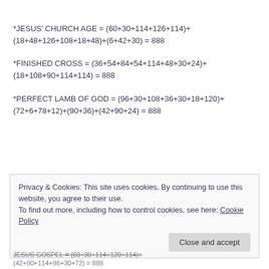Privacy & Cookies: This site uses cookies. By continuing to use this website, you agree to their use. To find out more, including how to control cookies, see here: Cookie Policy
Close and accept
JESUS GOSPEL = (60+30+114+120+114)+(42+90+114+96+30+72) = 888